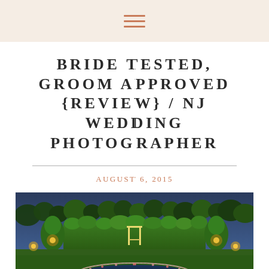[hamburger menu icon]
BRIDE TESTED, GROOM APPROVED {REVIEW} / NJ WEDDING PHOTOGRAPHER
AUGUST 6, 2015
[Figure (photo): Aerial dusk view of a formal garden venue with illuminated hedges, a decorative arch/swing structure, manicured topiary, flower-bordered pool, and trees in the background under a blue evening sky.]